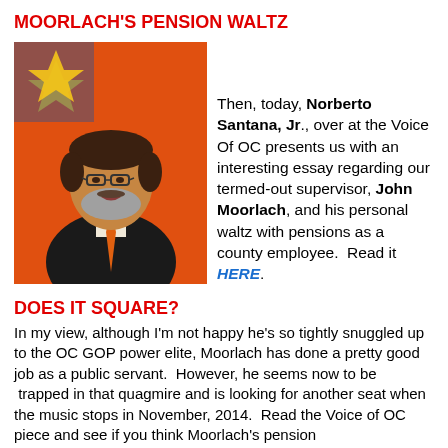MOORLACH'S PENSION WALTZ
[Figure (photo): Photo of a middle-aged man with glasses and a beard wearing a black suit and orange tie, standing in front of a red/orange background with a blue star visible.]
Then, today, Norberto Santana, Jr., over at the Voice Of OC presents us with an interesting essay regarding our termed-out supervisor, John Moorlach, and his personal waltz with pensions as a county employee.  Read it HERE.
DOES IT SQUARE?
In my view, although I'm not happy he's so tightly snuggled up to the OC GOP power elite, Moorlach has done a pretty good job as a public servant.  However, he seems now to be  trapped in that quagmire and is looking for another seat when the music stops in November, 2014.  Read the Voice of OC piece and see if you think Moorlach's pension